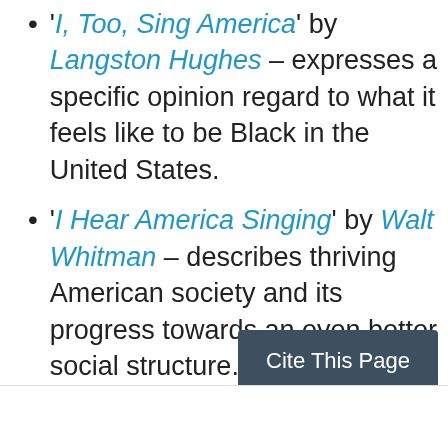'I, Too, Sing America' by Langston Hughes – expresses a specific opinion regard to what it feels like to be Black in the United States.
'I Hear America Singing' by Walt Whitman – describes thriving American society and its progress towards an even better social structure.